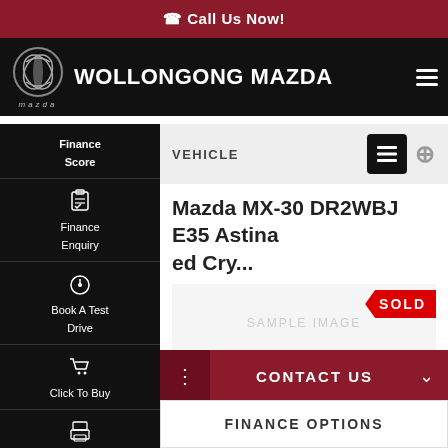Call Us Now!
WOLLONGONG MAZDA
Finance Score
Finance Enquiry
Book A Test Drive
Click To Buy
Instant Offer
VEHICLE
Mazda MX-30 DR2WBJ E35 Astina
ed Cry...
[Figure (other): Sample image placeholder with SOLD badge overlay]
CONTACT US
FINANCE OPTIONS